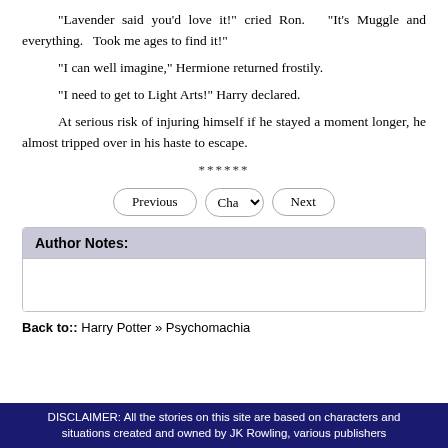"Lavender said you'd love it!" cried Ron.   "It's Muggle and everything.   Took me ages to find it!"
"I can well imagine," Hermione returned frostily.
"I need to get to Light Arts!" Harry declared.
At serious risk of injuring himself if he stayed a moment longer, he almost tripped over in his haste to escape.
******
Previous  Cha  Next
Author Notes:
Back to:: Harry Potter » Psychomachia
DISCLAIMER: All the stories on this site are based on characters and situations created and owned by JK Rowling, various publishers including but not limited to...